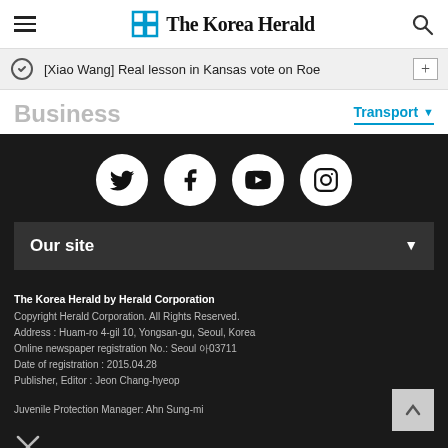The Korea Herald
[Xiao Wang] Real lesson in Kansas vote on Roe
Business
Transport
[Figure (logo): Social media icons: Twitter, Facebook, YouTube, Instagram in white circles on dark background]
Our site
The Korea Herald by Herald Corporation
Copyright Herald Corporation. All Rights Reserved.
Address : Huam-ro 4-gil 10, Yongsan-gu, Seoul, Korea
Online newspaper registration No.: Seoul 아03711
Date of registration : 2015.04.28
Publisher, Editor : Jeon Chang-hyeop
Juvenile Protection Manager: Ahn Sung-mi